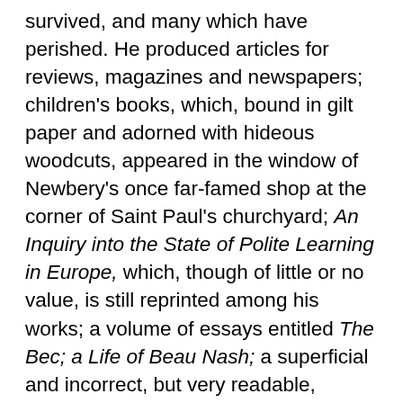survived, and many which have perished. He produced articles for reviews, magazines and newspapers; children's books, which, bound in gilt paper and adorned with hideous woodcuts, appeared in the window of Newbery's once far-famed shop at the corner of Saint Paul's churchyard; An Inquiry into the State of Polite Learning in Europe, which, though of little or no value, is still reprinted among his works; a volume of essays entitled The Bec; a Life of Beau Nash; a superficial and incorrect, but very readable, History of England, in a series of letters purporting to be addressed by a nobleman to his son; and some very lively and amusing sketches of London Society in another series of letters purporting to be addressed by a Chinese traveller to his friends. All these works were anonymous; but some of them were well known to be Goldsmith's; and he gradually rose in the estimation of the booksellers for whom he